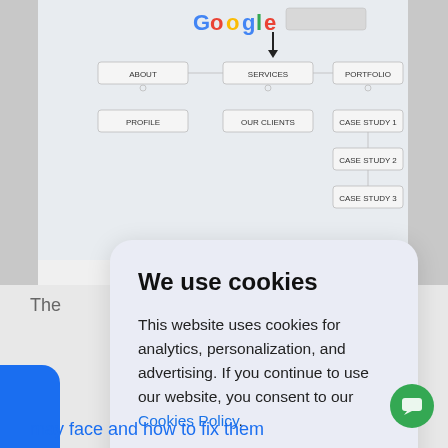[Figure (screenshot): Screenshot of a website sitemap/navigation diagram showing Google logo at top, with nodes: ABOUT, SERVICES (with arrow pointing to it), PORTFOLIO, PROFILE, OUR CLIENTS, CASE STUDY 1, CASE STUDY 2, CASE STUDY 3]
The
[Figure (infographic): Cookie consent modal overlay on a website. Title: We use cookies. Body: This website uses cookies for analytics, personalization, and advertising. If you continue to use our website, you consent to our Cookies Policy. Button: Accept]
may face and how to fix them